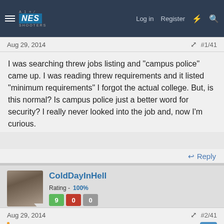NES SHOOTERS | Log in | Register
Aug 29, 2014  #1/41
I was searching threw jobs listing and "campus police" came up. I was reading threw requirements and it listed "minimum requirements" I forgot the actual college. But, is this normal? Is campus police just a better word for security? I really never looked into the job and, now I'm curious.
↩ Reply
ColdDayInHell  Rating - 100%  9  0  0
Aug 29, 2014  #2/41
wasralex22 said: ⊕
I was searching threw jobs listing and "campus police" came up. I was reading threw requirements and it listed "minimum requirements" I forgot the actual college. But, is this normal? Is campus police just a